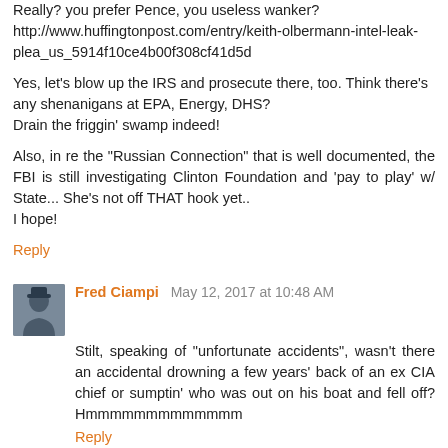Really? you prefer Pence, you useless wanker? http://www.huffingtonpost.com/entry/keith-olbermann-intel-leak-plea_us_5914f10ce4b00f308cf41d5d
Yes, let's blow up the IRS and prosecute there, too. Think there's any shenanigans at EPA, Energy, DHS?
Drain the friggin' swamp indeed!
Also, in re the "Russian Connection" that is well documented, the FBI is still investigating Clinton Foundation and 'pay to play' w/ State... She's not off THAT hook yet..
I hope!
Reply
Fred Ciampi  May 12, 2017 at 10:48 AM
Stilt, speaking of "unfortunate accidents", wasn't there an accidental drowning a few years' back of an ex CIA chief or sumptin' who was out on his boat and fell off? Hmmmmmmmmmmmmm
Reply